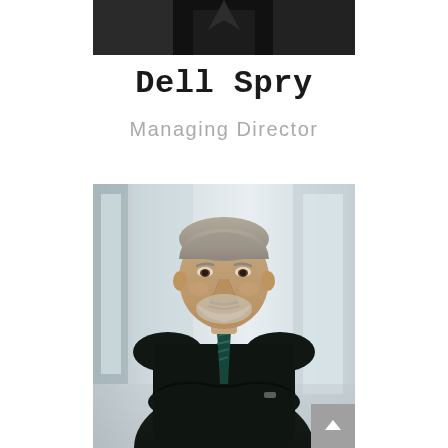[Figure (photo): Top portion of a person in dark suit, partial view, cropped at top]
Dell Spry
Managing Director
[Figure (photo): Professional portrait of Dell Spry, an older gentleman with gray hair and beard, wearing a dark suit with a teal striped tie, arms crossed, in a bright office corridor background]